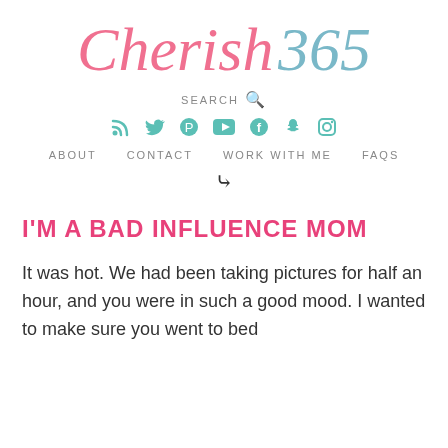Cherish 365
SEARCH
ABOUT   CONTACT   WORK WITH ME   FAQS
I'M A BAD INFLUENCE MOM
It was hot. We had been taking pictures for half an hour, and you were in such a good mood. I wanted to make sure you went to bed